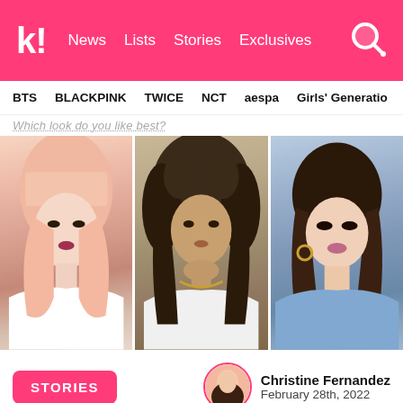k! News Lists Stories Exclusives
BTS  BLACKPINK  TWICE  NCT  aespa  Girls' Generation
Which look do you like best?
[Figure (photo): Three side-by-side portrait photos: left is Lisa (BLACKPINK) with pink hair in white outfit, center is Zendaya with curly dark hair in white outfit, right is Selena Gomez with dark hair in blue outfit]
STORIES
Christine Fernandez
February 28th, 2022